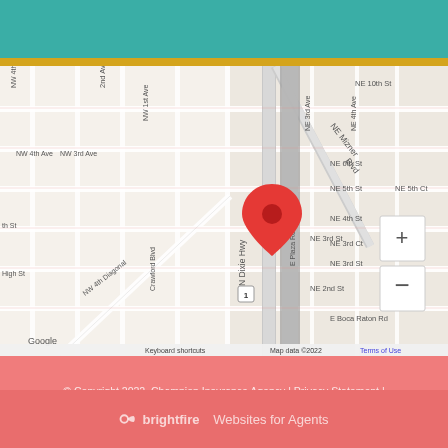[Figure (map): Google Maps screenshot showing location pin on N Dixie Hwy near NE Mizner Blvd in Boca Raton, FL. Streets visible include NW 4th Ave, NW 3rd Ave, NW 2nd Ave, NW 1st Ave, NW 4th Diagonal, Crawford Blvd, NE 10th St, NE 6th St, NE 5th St, NE 5th Ct, NE 4th St, NE 3rd Ct, NE 3rd St, NE 2nd St, E Plaza Real, E Boca Raton Rd. Map data ©2022 Google.]
© Copyright 2022, Champion Insurance Agency | Privacy Statement | Accessibility Statement | Login
brightfire Websites for Agents